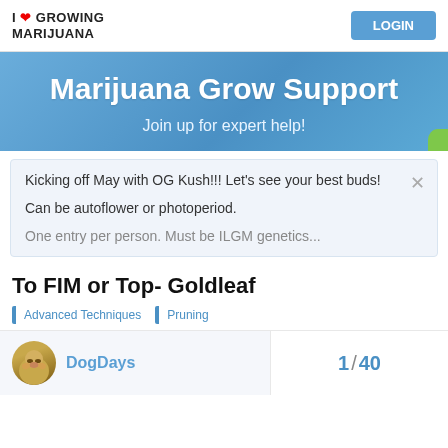I LOVE GROWING MARIJUANA | LOGIN
[Figure (screenshot): Banner with blue gradient background showing 'Marijuana Grow Support' and 'Join up for expert help!']
Kicking off May with OG Kush!!! Let's see your best buds!

Can be autoflower or photoperiod.

One entry per person. Must be ILGM genetics...
To FIM or Top- Goldleaf
Advanced Techniques | Pruning
DogDays    1 / 40